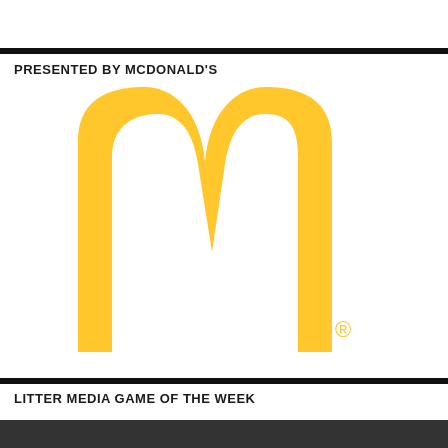PRESENTED BY MCDONALD'S
[Figure (logo): McDonald's Golden Arches logo (golden M shape on white background) with registered trademark symbol]
LITTER MEDIA GAME OF THE WEEK